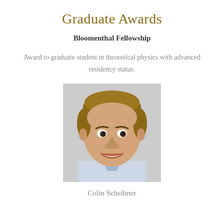Graduate Awards
Bloomenthal Fellowship
Award to graduate student in theoretical physics with advanced residency status.
[Figure (photo): Headshot photo of Colin Scheibner, a young man smiling, with short brown hair, against a light gray background.]
Colin Scheibner